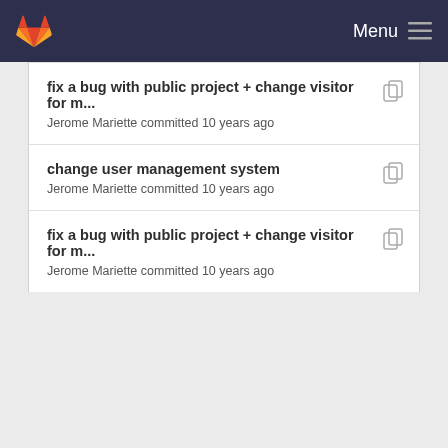Menu
fix a bug with public project + change visitor for m...
Jerome Mariette committed 10 years ago
change user management system
Jerome Mariette committed 10 years ago
fix a bug with public project + change visitor for m...
Jerome Mariette committed 10 years ago